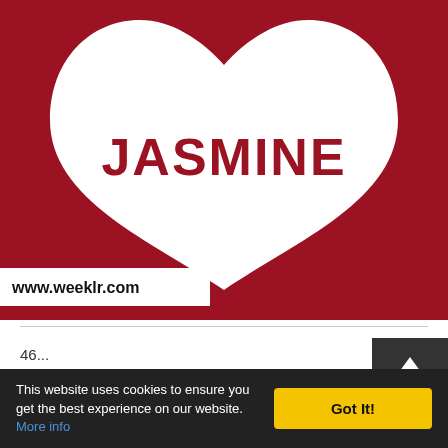[Figure (illustration): Dark red/crimson square image with a large white heart shape in the center. Inside the heart, the word 'JASMINE' is displayed in bold dark red uppercase letters. At the bottom left of the image, a white rectangle contains the text 'www.weeklr.com' in bold black.]
46 ...
This website uses cookies to ensure you get the best experience on our website. More info
Got It!